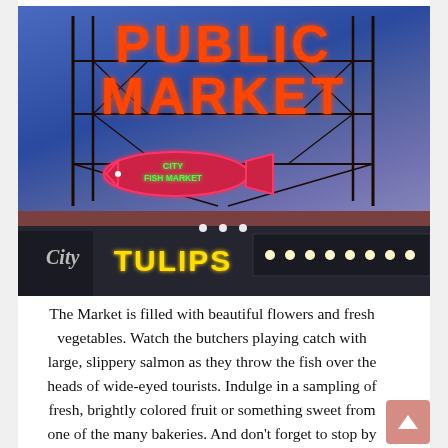[Figure (photo): Nighttime/dusk photo of Pike Place Public Market in Seattle. A large illuminated neon sign reads 'PUBLIC MARKET' in red/orange letters on a tall metal scaffold structure. A smaller fish-shaped neon sign reads 'CITY FISH MARKET' in green. Below the scaffold is a building with a 'TULIPS' sign in yellow letters, a 'City' cursive sign, and lit display windows with warm lights.]
The Market is filled with beautiful flowers and fresh vegetables. Watch the butchers playing catch with large, slippery salmon as they throw the fish over the heads of wide-eyed tourists. Indulge in a sampling of fresh, brightly colored fruit or something sweet from one of the many bakeries. And don't forget to stop by